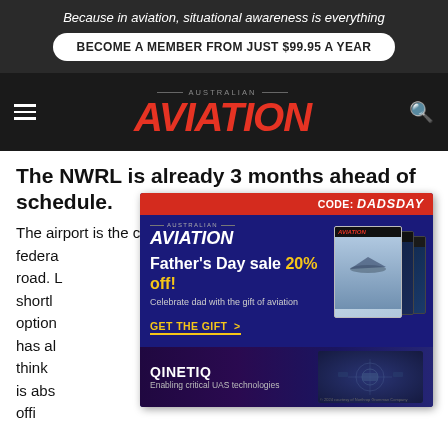Because in aviation, situational awareness is everything
BECOME A MEMBER FROM JUST $99.95 A YEAR
AVIATION (Australian Aviation logo)
The NWRL is already 3 months ahead of schedule.
The airport is the catalyst for a whole bunch of federal ... l and road. L ... le shortl ... r option ... that has al ... who think ... gone is abs ... er off ...
[Figure (infographic): Australian Aviation Father's Day sale advertisement overlay. CODE: DADSDAY. Father's Day sale 20% off! Celebrate dad with the gift of aviation. GET THE GIFT >. Shows stacked magazine mockup.]
[Figure (infographic): QinetiQ advertisement banner: Enabling critical UAS technologies. Purple/dark background with drone imagery.]